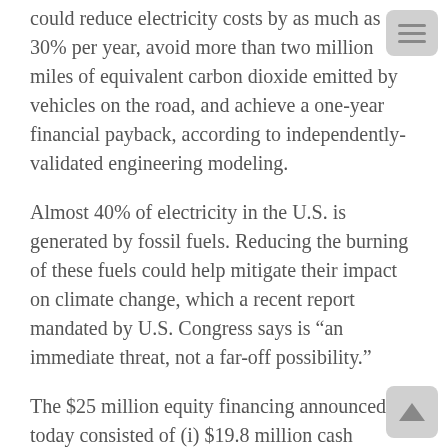could reduce electricity costs by as much as 30% per year, avoid more than two million miles of equivalent carbon dioxide emitted by vehicles on the road, and achieve a one-year financial payback, according to independently-validated engineering modeling.
Almost 40% of electricity in the U.S. is generated by fossil fuels. Reducing the burning of these fuels could help mitigate their impact on climate change, which a recent report mandated by U.S. Congress says is “an immediate threat, not a far-off possibility.”
The $25 million equity financing announced today consisted of (i) $19.8 million cash component, of which KCC accounted for approximately $19.7 million, and (ii) an